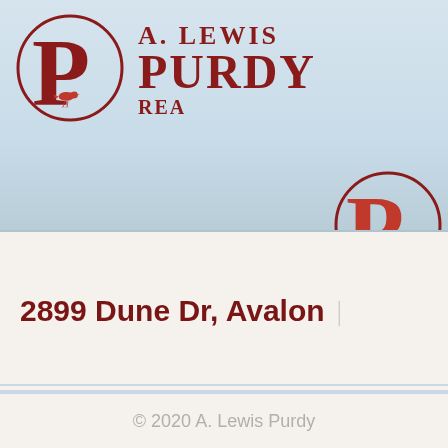[Figure (logo): A. Lewis Purdy Realty logo with large letter P in a circle with a bird silhouette, company name in dark red bold serif text]
2899 Dune Dr, Avalon
© 2020 A. Lewis Purdy